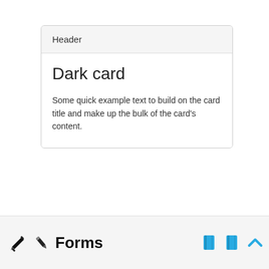Header
Dark card
Some quick example text to build on the card title and make up the bulk of the card's content.
Forms